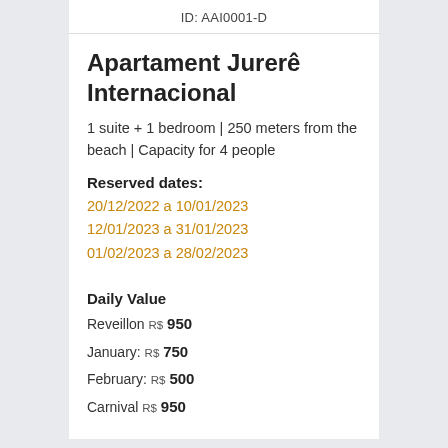ID: AAI0001-D
Apartament Jurerê Internacional
1 suite + 1 bedroom | 250 meters from the beach | Capacity for 4 people
Reserved dates:
20/12/2022 a 10/01/2023
12/01/2023 a 31/01/2023
01/02/2023 a 28/02/2023
Daily Value
Reveillon R$ 950
January: R$ 750
February: R$ 500
Carnival R$ 950